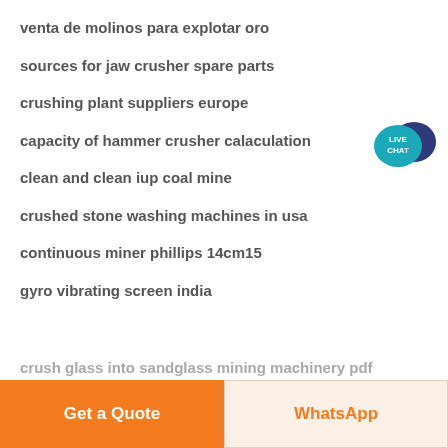venta de molinos para explotar oro
sources for jaw crusher spare parts
crushing plant suppliers europe
capacity of hammer crusher calaculation
clean and clean iup coal mine
crushed stone washing machines in usa
continuous miner phillips 14cm15
gyro vibrating screen india
crush glass into sandglass mining machinery pdf
[Figure (logo): Live Chat speech bubble icon in teal and dark navy blue, with text LIVE CHAT in white]
Get a Quote
WhatsApp